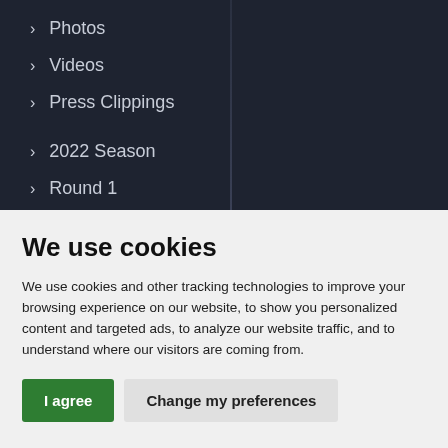Photos
Videos
Press Clippings
2022 Season
Round 1
Round 2 & 3
We use cookies
We use cookies and other tracking technologies to improve your browsing experience on our website, to show you personalized content and targeted ads, to analyze our website traffic, and to understand where our visitors are coming from.
I agree | Change my preferences